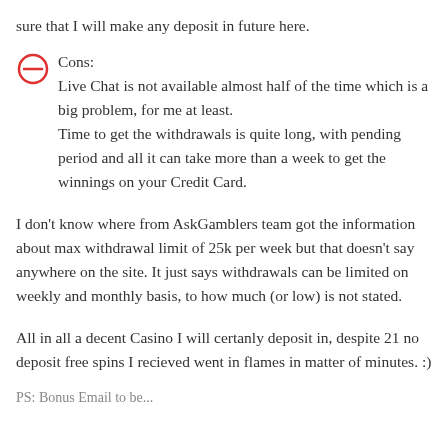sure that I will make any deposit in future here.
Cons:
Live Chat is not available almost half of the time which is a big problem, for me at least.
Time to get the withdrawals is quite long, with pending period and all it can take more than a week to get the winnings on your Credit Card.
I don't know where from AskGamblers team got the information about max withdrawal limit of 25k per week but that doesn't say anywhere on the site. It just says withdrawals can be limited on weekly and monthly basis, to how much (or low) is not stated.
All in all a decent Casino I will certanly deposit in, despite 21 no deposit free spins I recieved went in flames in matter of minutes. :)
PS: Bonus Email to be...